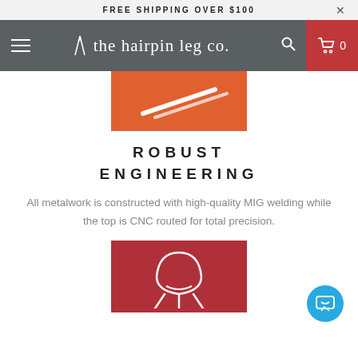FREE SHIPPING OVER $100
[Figure (logo): The Hairpin Leg Co. logo with navigation bar including hamburger menu, search icon, and cart icon on dark grey background with red cart area]
[Figure (illustration): Orange square background with white line illustration of a hairpin leg]
ROBUST ENGINEERING
All metalwork is constructed with high-quality MIG welding while the top is CNC routed for total precision.
[Figure (illustration): Dark red/crimson square background with white line illustration of a chair]